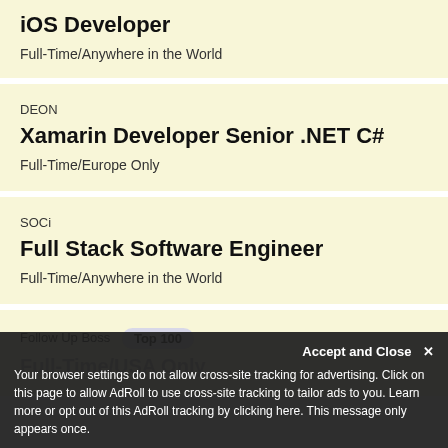iOS Developer
Full-Time/Anywhere in the World
DEON
Xamarin Developer Senior .NET C#
Full-Time/Europe Only
SOCi
Full Stack Software Engineer
Full-Time/Anywhere in the World
Follow Up Boss [Top 100]
Full-Time/USA Only
Accept and Close ×
Your browser settings do not allow cross-site tracking for advertising. Click on this page to allow AdRoll to use cross-site tracking to tailor ads to you. Learn more or opt out of this AdRoll tracking by clicking here. This message only appears once.